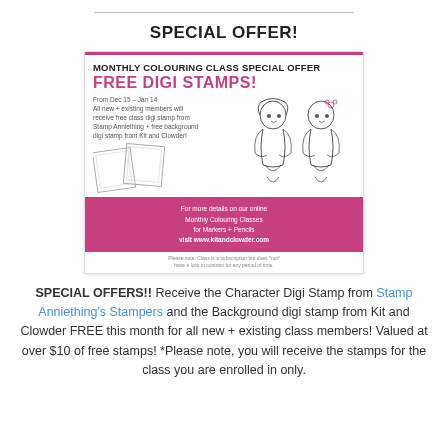SPECIAL OFFER!
[Figure (illustration): Promotional advertisement card for Monthly Colouring Class Special Offer. Features two cartoon girl characters, text about free digi stamps from Stamp Anniething and Kit and Clowder, valid Dec 15 - Jan 14. Pink accent colors with website www.kitandclowder.com.]
SPECIAL OFFERS!! Receive the Character Digi Stamp from Stamp Anniething's Stampers and the Background digi stamp from Kit and Clowder FREE this month for all new + existing class members! Valued at over $10 of free stamps! *Please note, you will receive the stamps for the class you are enrolled in only.